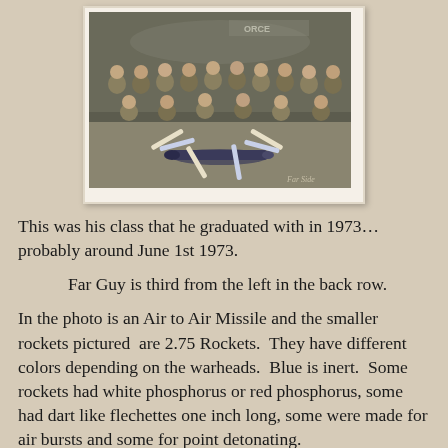[Figure (photo): A vintage group photo of military personnel in flight suits posed in front of an aircraft. In the center of the group is a large Air to Air Missile with smaller 2.75 Rockets arranged around it. A watermark reading 'Far Side' is in the lower right corner.]
This was his class that he graduated with in 1973…probably around June 1st 1973.
Far Guy is third from the left in the back row.
In the photo is an Air to Air Missile and the smaller rockets pictured  are 2.75 Rockets.  They have different colors depending on the warheads.  Blue is inert.  Some rockets had white phosphorus or red phosphorus, some had dart like flechettes one inch long, some were made for air bursts and some for point detonating.
We enjoyed our time in Colorado.  We lived a couple of